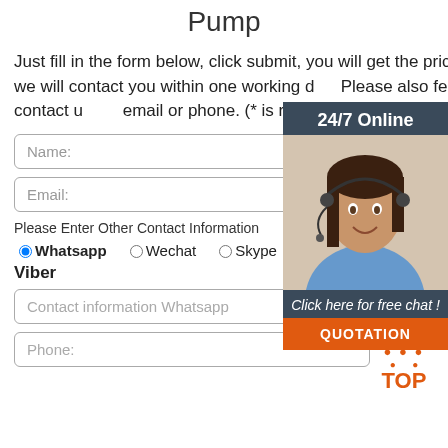Pump
Just fill in the form below, click submit, you will get the price list, and we will contact you within one working day. Please also feel free to contact us via email or phone. (* is required).
[Figure (photo): Customer service agent with headset, 24/7 Online chat widget with orange QUOTATION button]
Name:
Email:
Please Enter Other Contact Information
Whatsapp  Wechat  Skype  Viber
Contact information Whatsapp
Phone: